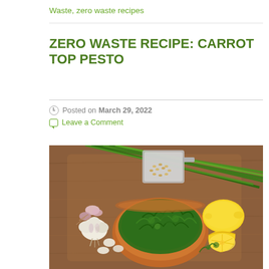Waste, zero waste recipes
ZERO WASTE RECIPE: CARROT TOP PESTO
Posted on March 29, 2022
Leave a Comment
[Figure (photo): Overhead view of pesto ingredients on a wooden cutting board: a terracotta bowl filled with carrot top greens, green onions/scallions, a measuring cup with pine nuts, a head of garlic with loose cloves, and lemon halves.]